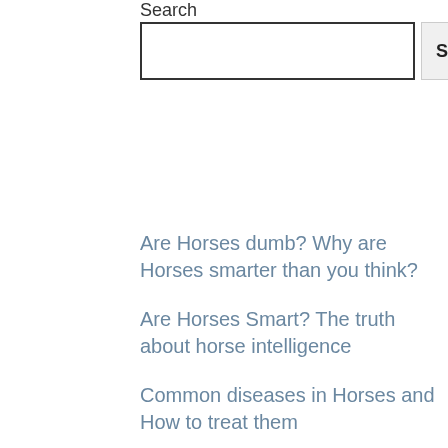Search
[Figure (screenshot): Search input box with a Search button to the right]
Are Horses dumb? Why are Horses smarter than you think?
Are Horses Smart? The truth about horse intelligence
Common diseases in Horses and How to treat them
Are Friesian horses good for beginners?
What human food can horses eat